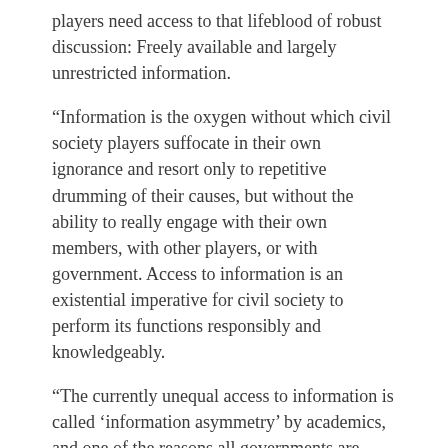players need access to that lifeblood of robust discussion: Freely available and largely unrestricted information.
“Information is the oxygen without which civil society players suffocate in their own ignorance and resort only to repetitive drumming of their causes, but without the ability to really engage with their own members, with other players, or with government. Access to information is an existential imperative for civil society to perform its functions responsibly and knowledgeably.
“The currently unequal access to information is called ‘information asymmetry’ by academics, and one of the reasons all governments are averse to sharing information is not just because of the sensitivity of secrets, but because information is power, and asymmetry between seeker and owner of information shapes their relative power relationship.”